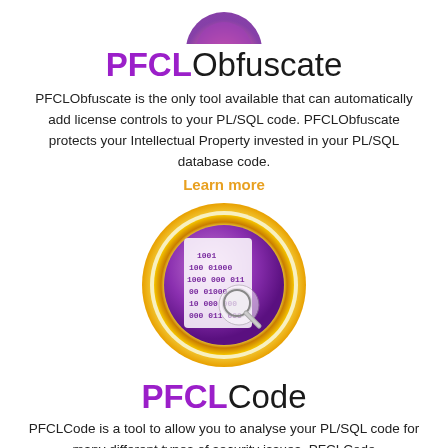[Figure (logo): Partial logo at top of page - purple/orange gradient circular icon]
PFCLObfuscate
PFCLObfuscate is the only tool available that can automatically add license controls to your PL/SQL code. PFCLObfuscate protects your Intellectual Property invested in your PL/SQL database code.
Learn more
[Figure (logo): Circular icon with gold ring border on purple gradient background, showing a document with binary code and a magnifying glass]
PFCLCode
PFCLCode is a tool to allow you to analyse your PL/SQL code for many different types of security issues. PFCLCode